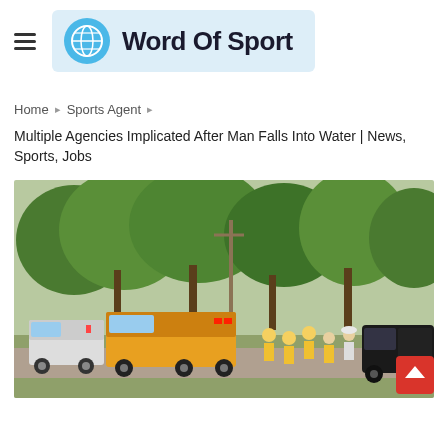Word Of Sport
Home > Sports Agent > Multiple Agencies Implicated After Man Falls Into Water | News, Sports, Jobs
Multiple Agencies Implicated After Man Falls Into Water | News, Sports, Jobs
[Figure (photo): Emergency response scene with fire trucks, ambulance, and workers in yellow high-visibility vests gathered on a road surrounded by green trees. A black pickup truck is visible on the right side.]